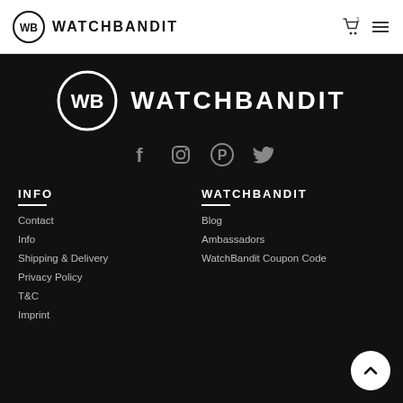WATCHBANDIT
[Figure (logo): WatchBandit footer logo with WB circle icon and WATCHBANDIT text in white on black background]
[Figure (infographic): Social media icons: Facebook, Instagram, Pinterest, Twitter]
INFO
Contact
Info
Shipping & Delivery
Privacy Policy
T&C
Imprint
WATCHBANDIT
Blog
Ambassadors
WatchBandit Coupon Code